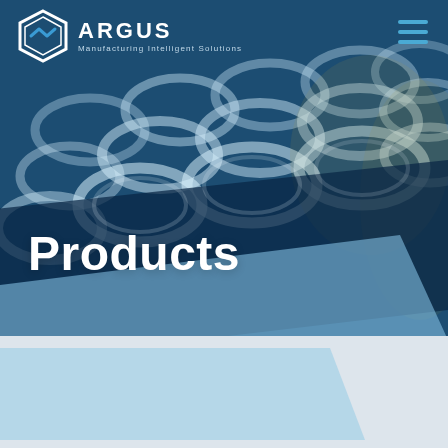[Figure (photo): Cover page of Argus Manufacturing Intelligent Solutions product brochure. Dark teal/blue background showing industrial coil springs or glass ring components on a production line. A diagonal dark blue band overlays the lower portion of the photo. A light blue diagonal band transitions into a grey footer area. White bold text 'Products' overlaid on the dark band.]
ARGUS Manufacturing Intelligent Solutions
Products